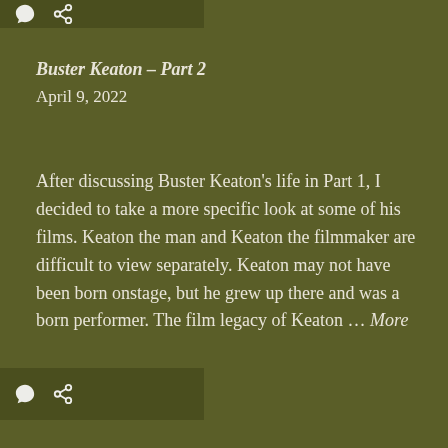[Figure (other): Top bar with comment bubble and link icons on dark olive background]
Buster Keaton – Part 2
April 9, 2022
After discussing Buster Keaton's life in Part 1, I decided to take a more specific look at some of his films. Keaton the man and Keaton the filmmaker are difficult to view separately. Keaton may not have been born onstage, but he grew up there and was a born performer. The film legacy of Keaton … More
[Figure (other): Bottom bar with comment bubble and link icons on dark olive background]